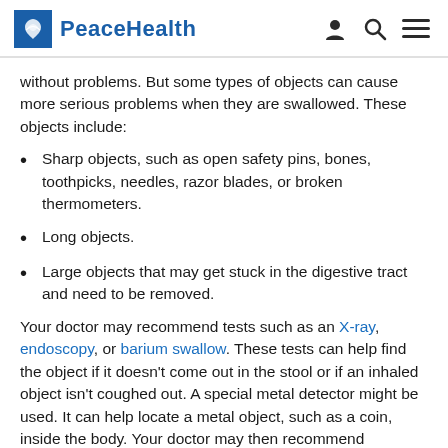PeaceHealth
without problems. But some types of objects can cause more serious problems when they are swallowed. These objects include:
Sharp objects, such as open safety pins, bones, toothpicks, needles, razor blades, or broken thermometers.
Long objects.
Large objects that may get stuck in the digestive tract and need to be removed.
Your doctor may recommend tests such as an X-ray, endoscopy, or barium swallow. These tests can help find the object if it doesn't come out in the stool or if an inhaled object isn't coughed out. A special metal detector might be used. It can help locate a metal object, such as a coin, inside the body. Your doctor may then recommend